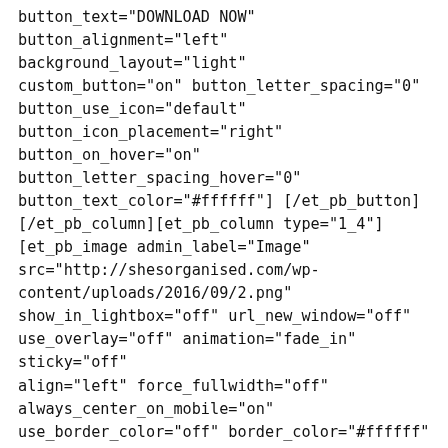button_text="DOWNLOAD NOW" button_alignment="left" background_layout="light" custom_button="on" button_letter_spacing="0" button_use_icon="default" button_icon_placement="right" button_on_hover="on" button_letter_spacing_hover="0" button_text_color="#ffffff"] [/et_pb_button] [/et_pb_column][et_pb_column type="1_4"] [et_pb_image admin_label="Image" src="http://shesorganised.com/wp-content/uploads/2016/09/2.png" show_in_lightbox="off" url_new_window="off" use_overlay="off" animation="fade_in" sticky="off" align="left" force_fullwidth="off" always_center_on_mobile="on" use_border_color="off" border_color="#ffffff" border_style="solid"] [/et_pb_image][et_pb_button admin_label="Button"